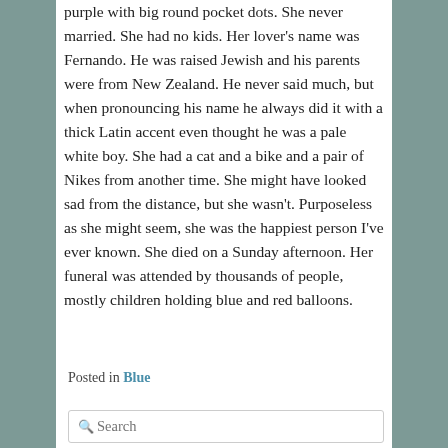purple with big round pocket dots. She never married. She had no kids. Her lover's name was Fernando. He was raised Jewish and his parents were from New Zealand. He never said much, but when pronouncing his name he always did it with a thick Latin accent even thought he was a pale white boy. She had a cat and a bike and a pair of Nikes from another time. She might have looked sad from the distance, but she wasn't. Purposeless as she might seem, she was the happiest person I've ever known. She died on a Sunday afternoon. Her funeral was attended by thousands of people, mostly children holding blue and red balloons.
Posted in Blue
Search
BUY THE BOOK HERE